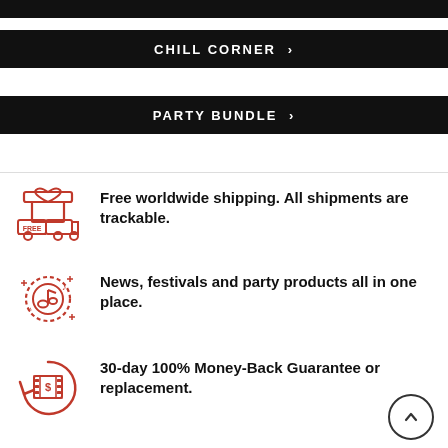[Figure (other): Dark top bar strip]
CHILL CORNER >
PARTY BUNDLE >
Free worldwide shipping. All shipments are trackable.
News, festivals and party products all in one place.
30-day 100% Money-Back Guarantee or replacement.